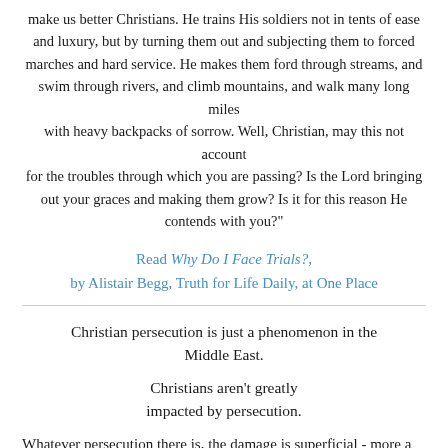make us better Christians. He trains His soldiers not in tents of ease and luxury, but by turning them out and subjecting them to forced marches and hard service. He makes them ford through streams, and swim through rivers, and climb mountains, and walk many long miles with heavy backpacks of sorrow. Well, Christian, may this not account for the troubles through which you are passing? Is the Lord bringing out your graces and making them grow? Is it for this reason He contends with you?"
Read Why Do I Face Trials?, by Alistair Begg, Truth for Life Daily, at One Place
Christian persecution is just a phenomenon in the Middle East.
Christians aren't greatly impacted by persecution.
Whatever persecution there is, the damage is superficial - more a loss